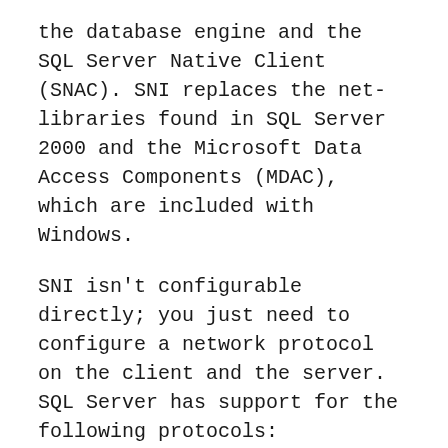the database engine and the SQL Server Native Client (SNAC). SNI replaces the net-libraries found in SQL Server 2000 and the Microsoft Data Access Components (MDAC), which are included with Windows.
SNI isn't configurable directly; you just need to configure a network protocol on the client and the server. SQL Server has support for the following protocols:
Shared memory – Simple and fast, shared memory is the default protocol used to connect from a client running on the same computer as SQL Server. It can only be used locally, has no configurable properties, and is